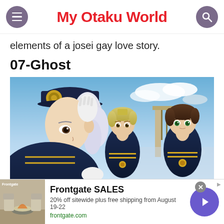My Otaku World
elements of a josei gay love story.
07-Ghost
[Figure (illustration): Anime scene from 07-Ghost showing three characters in military-style uniforms. A silver-haired character in the foreground saluting, a blonde character in the middle, and a brown-haired character with green eyes on the right. Background shows a gate and cloudy sky.]
[Figure (screenshot): Advertisement for Frontgate SALES: 20% off sitewide plus free shipping from August 19-22. URL: frontgate.com. Shows outdoor furniture image on left and purple arrow button on right.]